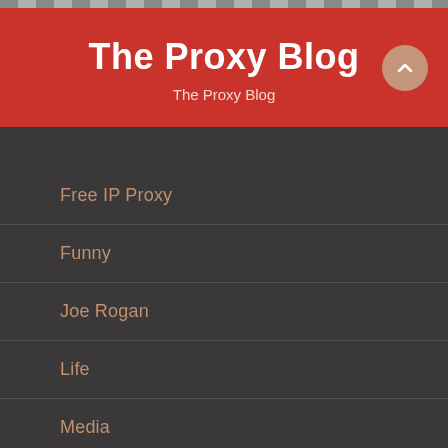The Proxy Blog
The Proxy Blog
Free IP Proxy
Funny
Joe Rogan
Life
Media
Other